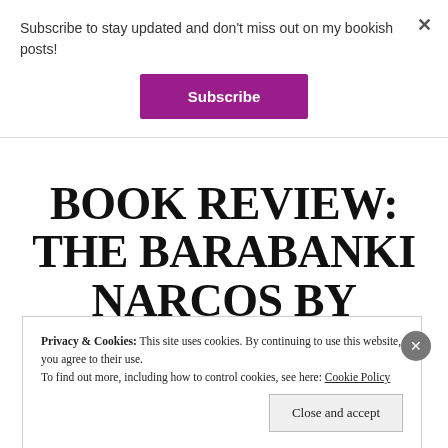Subscribe to stay updated and don't miss out on my bookish posts!
Subscribe
BOOK REVIEW: THE BARABANKI NARCOS BY ALOKE LAL
Privacy & Cookies: This site uses cookies. By continuing to use this website, you agree to their use.
To find out more, including how to control cookies, see here: Cookie Policy
Close and accept